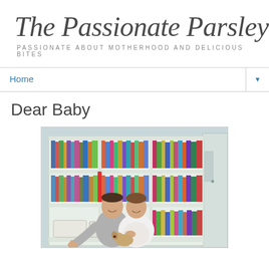The Passionate Parsley
PASSIONATE ABOUT MOTHERHOOD AND DELICIOUS BITES
Home
Dear Baby
[Figure (photo): A couple sitting in front of a large white bookshelf filled with colorful books. A man in a gray shirt smiles at the camera, and a pregnant woman in a white top leans against him. A small dog is visible in front of them.]